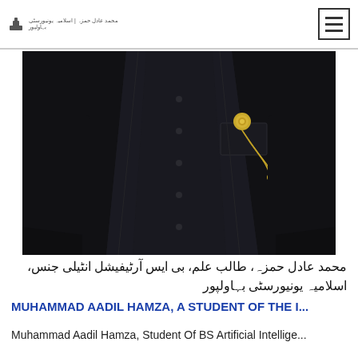Muhammad Aadil Hamza - Islamia University Bahawalpur
[Figure (photo): A person wearing a black suit with a gold chain brooch/pin on the lapel, photographed from neck to waist.]
محمد عادل حمزہ، طالب علم، بی ایس آرٹیفیشل انٹیلی جنس، اسلامیہ یونیورسٹی بہاولپور
MUHAMMAD AADIL HAMZA, A STUDENT OF THE I...
Muhammad Aadil Hamza, Student Of BS Artificial Intellige...